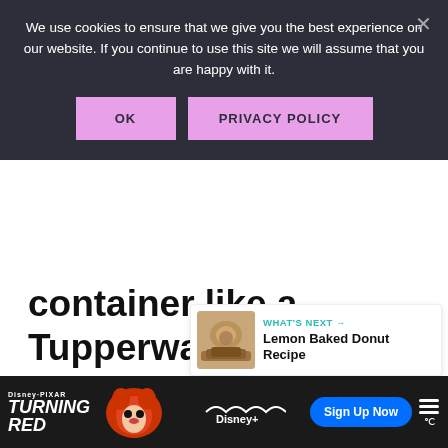We use cookies to ensure that we give you the best experience on our website. If you continue to use this site we will assume that you are happy with it.
OK
PRIVACY POLICY
container like a Tupperware container or ziptop bag as well.
233K
WHAT'S NEXT → Lemon Baked Donut Recipe
[Figure (screenshot): Disney Pixar Turning Red advertisement banner at the bottom of the page with Sign Up Now button for Disney+]